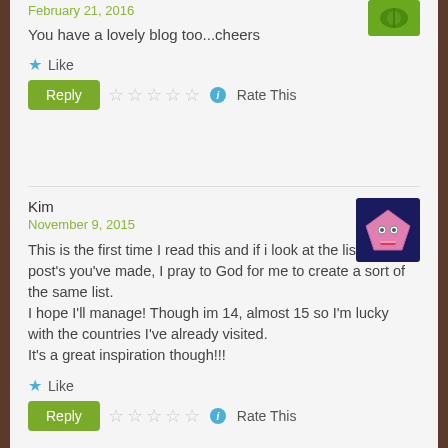February 21, 2016
You have a lovely blog too...cheers
★ Like
Reply  ☆☆☆☆☆ ℹ Rate This
Kim
November 9, 2015
This is the first time I read this and if i look at the list of blog post's you've made, I pray to God for me to create a sort of the same list. I hope I'll manage! Though im 14, almost 15 so I'm lucky with the countries I've already visited. It's a great inspiration though!!!
★ Like
Reply  ☆☆☆☆☆ ℹ Rate This